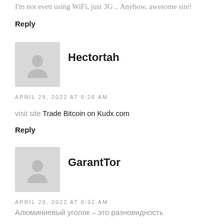I'm not even using WiFi, just 3G .. Anyhow, awesome site!
Reply
[Figure (illustration): User avatar placeholder for Hectortah — gray square with silhouette icon]
Hectortah
APRIL 29, 2022 AT 6:28 AM
visit site Trade Bitcoin on Kudx.com
Reply
[Figure (illustration): User avatar placeholder for GarantTor — gray square with silhouette icon]
GarantTor
APRIL 29, 2022 AT 6:32 AM
Алюминиевый уголок – это разновидность